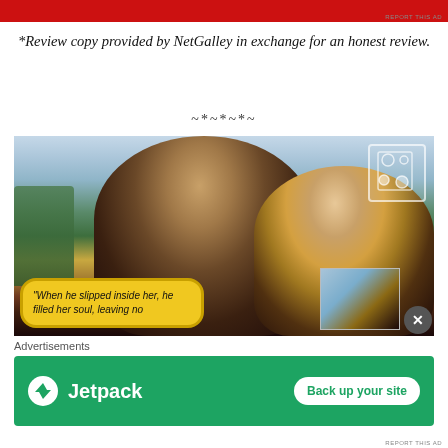[Figure (photo): Red advertisement banner strip at top of page]
*Review copy provided by NetGalley in exchange for an honest review.
~*~*~*~
[Figure (photo): Romance novel book cover showing a man and woman against a mountain/forest backdrop with yellow speech bubble reading 'When he slipped inside her, he filled her soul, leaving no' and a small overlay image in bottom right corner]
Advertisements
[Figure (other): Jetpack advertisement: green background with Jetpack logo and 'Back up your site' button]